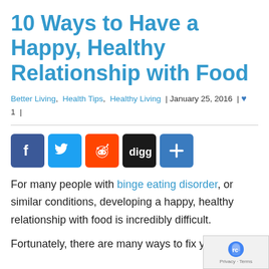10 Ways to Have a Happy, Healthy Relationship with Food
Better Living, Health Tips, Healthy Living | January 25, 2016 | ♥ 1 |
[Figure (other): Social share buttons: Facebook, Twitter, Reddit, Digg, More]
For many people with binge eating disorder, or similar conditions, developing a happy, healthy relationship with food is incredibly difficult.
Fortunately, there are many ways to fix your